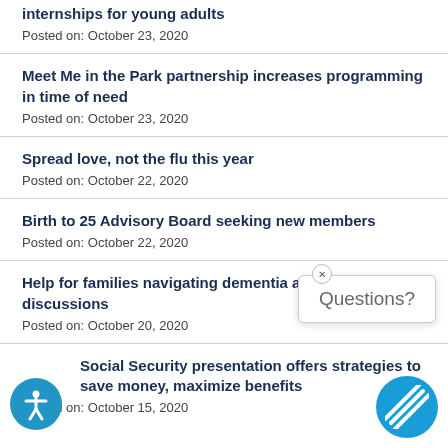internships for young adults
Posted on: October 23, 2020
Meet Me in the Park partnership increases programming in time of need
Posted on: October 23, 2020
Spread love, not the flu this year
Posted on: October 22, 2020
Birth to 25 Advisory Board seeking new members
Posted on: October 22, 2020
Help for families navigating dementia and driving discussions
Posted on: October 20, 2020
Social Security presentation offers strategies to save money, maximize benefits
Posted on: October 15, 2020